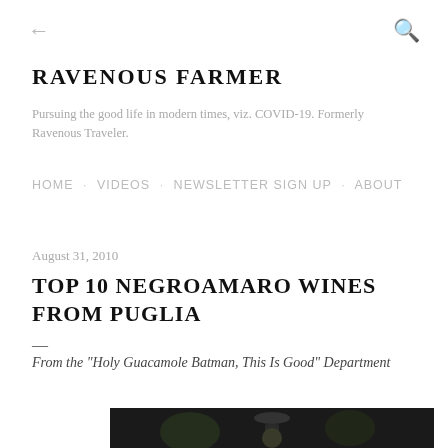← (back) and search icon
RAVENOUS FARMER
Pursuing the good life in modern times, viz. COVID-19. Formerly Ravenous Traveler.
HOME · VIDEOS · NEWSLETTER SIGN UP · ABOUT
August 31, 2010
TOP 10 NEGROAMARO WINES FROM PUGLIA
—
From the "Holy Guacamole Batman, This Is Good" Department
[Figure (photo): Partially visible photo at bottom of page, dark background, appears to show a wine glass or bottle]